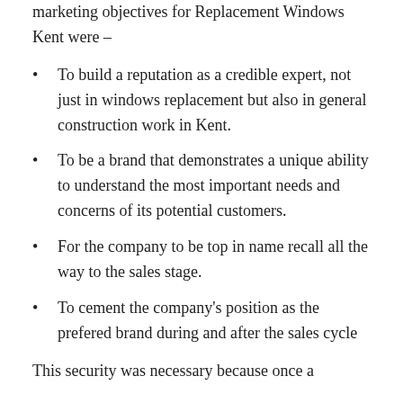marketing objectives for Replacement Windows Kent were –
To build a reputation as a credible expert, not just in windows replacement but also in general construction work in Kent.
To be a brand that demonstrates a unique ability to understand the most important needs and concerns of its potential customers.
For the company to be top in name recall all the way to the sales stage.
To cement the company's position as the prefered brand during and after the sales cycle
This security was necessary because once a